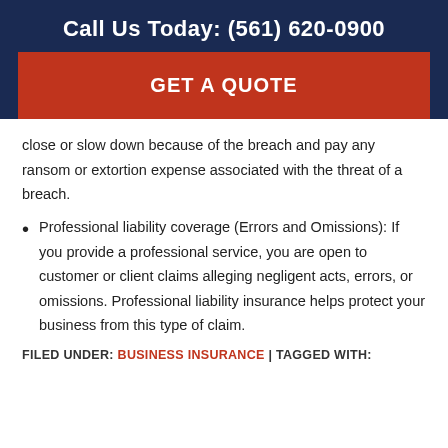Call Us Today: (561) 620-0900
[Figure (other): Red button with text GET A QUOTE]
close or slow down because of the breach and pay any ransom or extortion expense associated with the threat of a breach.
Professional liability coverage (Errors and Omissions): If you provide a professional service, you are open to customer or client claims alleging negligent acts, errors, or omissions. Professional liability insurance helps protect your business from this type of claim.
FILED UNDER: BUSINESS INSURANCE | TAGGED WITH: